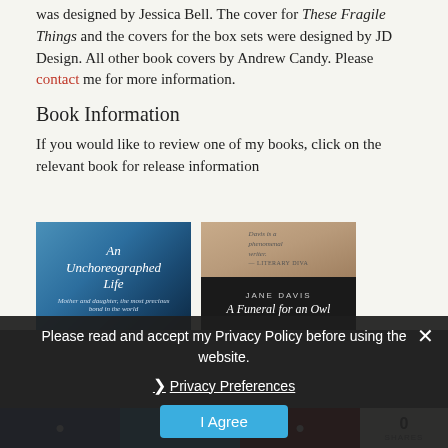was designed by Jessica Bell. The cover for These Fragile Things and the covers for the box sets were designed by JD Design. All other book covers by Andrew Candy. Please contact me for more information.
Book Information
If you would like to review one of my books, click on the relevant book for release information
[Figure (photo): Book cover: An Unchoreographed Life — blue textured background with white italic title text and subtitle 'Mother and daughter, the most precious bond in the world']
[Figure (photo): Book cover: Jane Davis A Funeral for an Owl — upper portion shows light knit/fur texture with quote text, lower portion is black with author name and title in white]
Please read and accept my Privacy Policy before using the website.
Privacy Preferences
I Agree